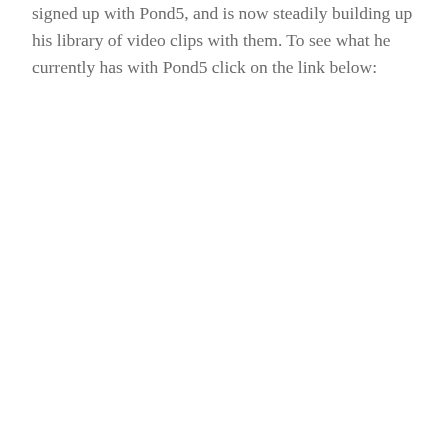signed up with Pond5, and is now steadily building up his library of video clips with them. To see what he currently has with Pond5 click on the link below: